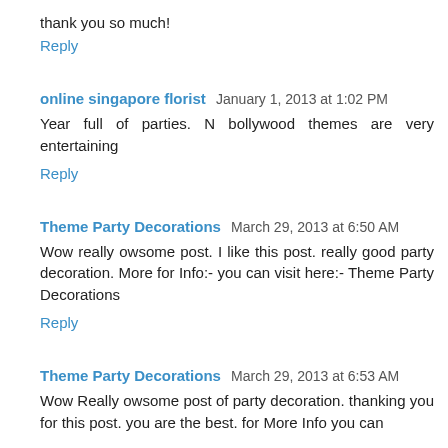thank you so much!
Reply
online singapore florist  January 1, 2013 at 1:02 PM
Year full of parties. N bollywood themes are very entertaining
Reply
Theme Party Decorations  March 29, 2013 at 6:50 AM
Wow really owsome post. I like this post. really good party decoration. More for Info:- you can visit here:- Theme Party Decorations
Reply
Theme Party Decorations  March 29, 2013 at 6:53 AM
Wow Really owsome post of party decoration. thanking you for this post. you are the best. for More Info you can